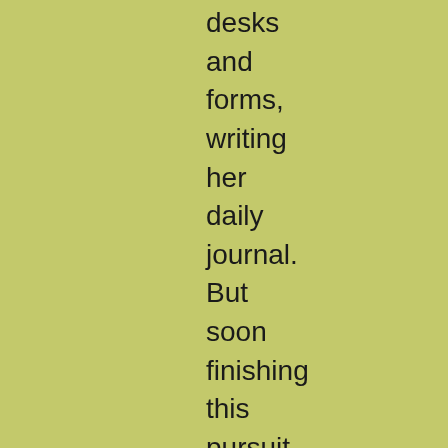desks and forms, writing her daily journal. But soon finishing this pursuit, she engaged in an animated conversation with a teacher